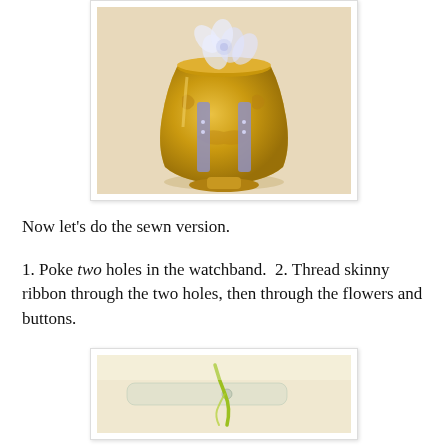[Figure (photo): A gold decorative vase/cup with white fabric flowers and a lavender ribbon threaded through it, sitting on a light beige surface.]
Now let's do the sewn version.
1. Poke two holes in the watchband.  2. Thread skinny ribbon through the two holes, then through the flowers and buttons.
[Figure (photo): Close-up of a watchband with a green/yellow ribbon or thread being inserted through a hole.]